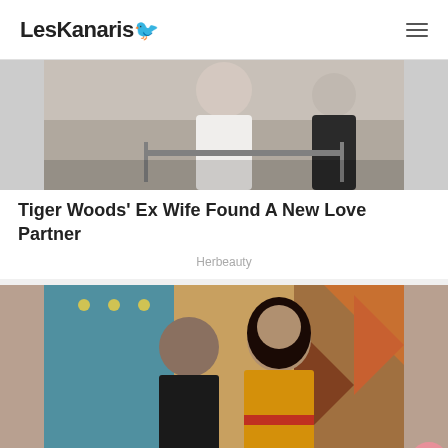LesKanaris
[Figure (photo): Two people at a sports venue, one wearing a white Nike shirt]
Tiger Woods' Ex Wife Found A New Love Partner
Herbeauty
[Figure (photo): A man in a black sweater and a woman in a yellow outfit smiling together on a TV show set]
Pretty Awesome Shows That Just Got Canceled
Brainberries